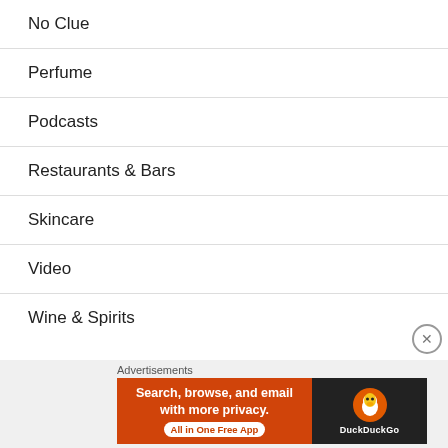No Clue
Perfume
Podcasts
Restaurants & Bars
Skincare
Video
Wine & Spirits
Advertisements
[Figure (screenshot): DuckDuckGo advertisement banner: orange left panel with text 'Search, browse, and email with more privacy. All in One Free App' and dark right panel with DuckDuckGo duck logo]